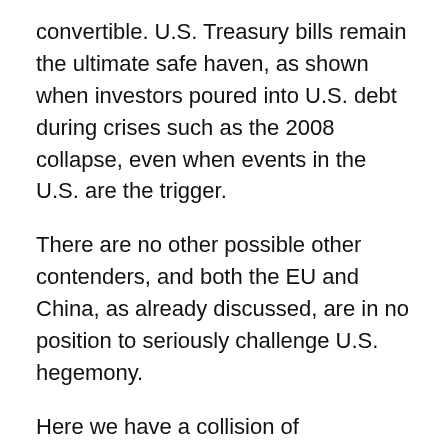convertible. U.S. Treasury bills remain the ultimate safe haven, as shown when investors poured into U.S. debt during crises such as the 2008 collapse, even when events in the U.S. are the trigger.
There are no other possible other contenders, and both the EU and China, as already discussed, are in no position to seriously challenge U.S. hegemony.
Here we have a collision of possibilities: The transcending of capitalism and transition to a new economic system or the decreasing functionality of the world capitalist system should it persist for several more decades. Given the resiliency of capitalism, and the many tools available to it (not least military power), the latter scenario can't be ruled out although it might be unlikely. Making any prediction on the lifespan of capitalism is fraught with difficulty, not least